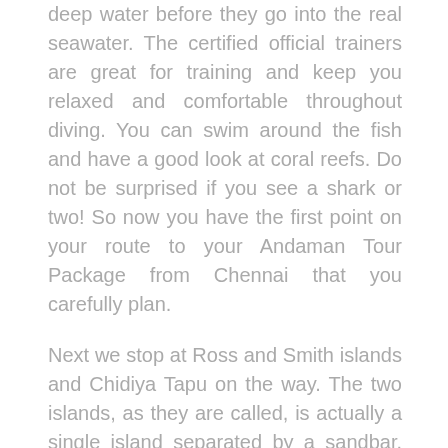deep water before they go into the real seawater. The certified official trainers are great for training and keep you relaxed and comfortable throughout diving. You can swim around the fish and have a good look at coral reefs. Do not be surprised if you see a shark or two! So now you have the first point on your route to your Andaman Tour Package from Chennai that you carefully plan.
Next we stop at Ross and Smith islands and Chidiya Tapu on the way. The two islands, as they are called, is actually a single island separated by a sandbar. During high tide, the sand bar disappears under water. You can walk along the sand bar to each side at low tide. Get help from forest officials that the islands are full of thick forest. Do remember to start early so you do not lose your way at dusk. The island is home to many destroyed buildings from the colonial British era that